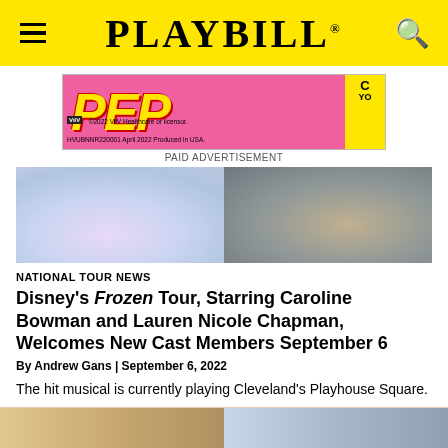PLAYBILL
[Figure (photo): Pink advertisement banner for PEP with yellow text, ViiV Healthcare branding. Text reads: '©2022 ViiV Healthcare or licensor. HVUBNNR220001 April 2022 Produced in USA.' Label: PAID ADVERTISEMENT]
PAID ADVERTISEMENT
[Figure (photo): Hero photo showing two women in theatrical costumes — one in a sparkly light blue/white gown with a braid (Elsa from Frozen), the other in a dark green/black off-shoulder gown with purple floral detail.]
NATIONAL TOUR NEWS
Disney's Frozen Tour, Starring Caroline Bowman and Lauren Nicole Chapman, Welcomes New Cast Members September 6
By Andrew Gans | September 6, 2022
The hit musical is currently playing Cleveland's Playhouse Square.
[Figure (photo): Bottom thumbnail strip showing partial images of two scenes or content previews.]